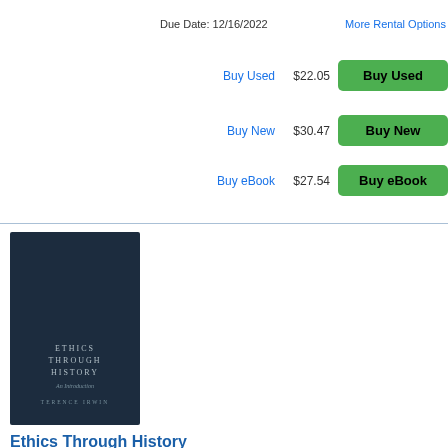Due Date: 12/16/2022
More Rental Options
Buy Used  $22.05
Buy New  $30.47
Buy eBook  $27.54
[Figure (photo): Book cover of 'Ethics Through History An Introduction' by Terence Irwin, dark navy blue cover with white lettering]
Ethics Through History An Introduction